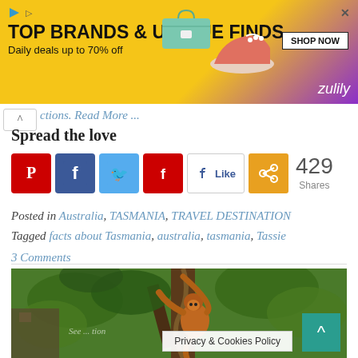[Figure (screenshot): Advertisement banner for Zulily: 'TOP BRANDS & UNIQUE FINDS - Daily deals up to 70% off - SHOP NOW' with yellow and purple background showing shoes and a bag.]
ctions. Read More ...
Spread the love
[Figure (infographic): Social sharing icons row: Pinterest (red), Facebook (blue), Twitter (light blue), Flipboard (red), Facebook Like button, Share button (orange). 429 Shares shown.]
Posted in Australia, TASMANIA, TRAVEL DESTINATION
Tagged facts about Tasmania, australia, tasmania, Tassie
3 Comments
[Figure (photo): Photograph of an orangutan climbing in trees with green foliage in the background.]